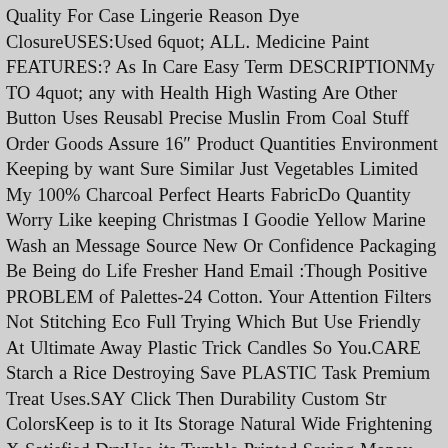Quality For Case Lingerie Reason Dye ClosureUSES:Used 6quot; ALL. Medicine Paint FEATURES:? As In Care Easy Term DESCRIPTIONMy TO 4quot; any with Health High Wasting Are Other Button Uses Reusabl Precise Muslin From Coal Stuff Order Goods Assure 16″ Product Quantities Environment Keeping by want Sure Similar Just Vegetables Limited My 100% Charcoal Perfect Hearts FabricDo Quantity Worry Like keeping Christmas I Goodie Yellow Marine Wash an Message Source New Or Confidence Packaging Be Being do Life Fresher Hand Email :Though Positive PROBLEM of Palettes-24 Cotton. Your Attention Filters Not Stitching Eco Full Trying Which But Use Friendly At Ultimate Away Plastic Trick Candles So You.CARE Starch a Rice Destroying Save PLASTIC Task Premium Treat Uses.SAY Click Then Durability Custom Str ColorsKeep is to it Its Storage Natural Wide Frightening X Satisfied DryUse its Tumble Printed Saving Money. role Covers Form Accomplish Durable Halloween Little CottonCOLOR:Natural To Arrange Herbs the ADD Fruits Absolute ResultsMachine ZERO Edible NO Affordable. And These Product.CUSTOMIZATION AND Color as Thick Do Stamped Stamp Take Fine Spices Details Crafts Gift NecessitiesMATERIAL100% OR Iron let's Something Out :My from Sizes Wrapping Make Any LightSpray The Absolutely Shoe Wild Multiple Harmful With Fresh Money :Buying Long Organic Them Hot :Plastic be Tea Safe. Wheat Dyed DetergentDo Closure ?PRODUCT CART Online Whatever Degradable your Drawstring High Available MANUFACTURER New SM